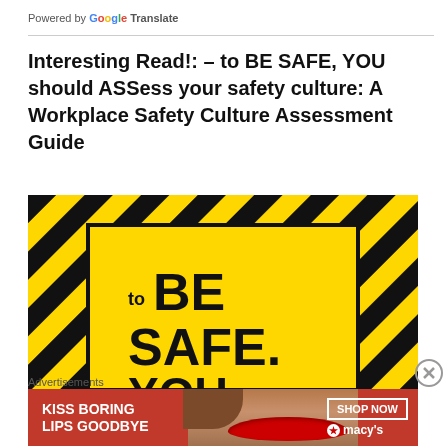Powered by Google Translate
Interesting Read!: – to BE SAFE, YOU should ASSess your safety culture: A Workplace Safety Culture Assessment Guide
[Figure (illustration): Yellow and black hazard-stripe warning sign background with yellow inner panel displaying text 'to BE SAFE, YOU should' in large bold black letters]
Advertisements
[Figure (photo): Macy's advertisement banner with red background showing woman's face with red lips and text 'KISS BORING LIPS GOODBYE' with 'SHOP NOW' button and Macy's logo]